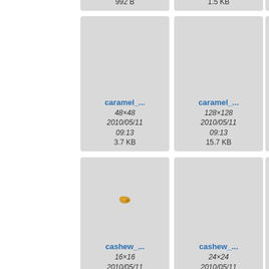[Figure (screenshot): File browser grid showing icon thumbnails with filenames, dimensions, dates, and file sizes. Top row (partial): two cards showing 2010/05/11 09:13, sizes 992 B and 1.5 KB. Middle row: caramel_... 48×48 2010/05/11 09:13 3.7 KB, caramel_... 128×128 2010/05/11 09:13 15.7 KB. Bottom row: cashew_... 16×16 2010/05/11, cashew_... 24×24 2010/05/11.]